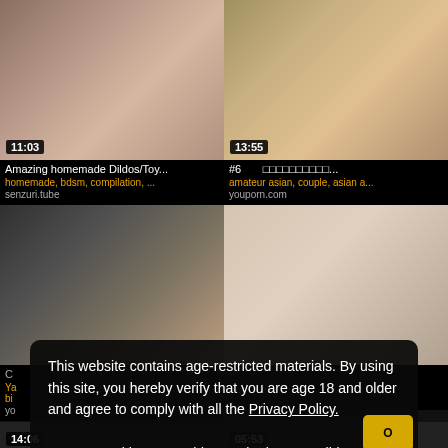[Figure (screenshot): Video thumbnail top-left with duration 11:03]
[Figure (screenshot): Video thumbnail top-right with duration 13:55]
Amazing homemade Dildos/Toy...
#6   □□□□□□□□□□...
homemade, bdsm, compilation, ...
amateur asian, couple, asian a...
senzuri.tube
youporn.com
[Figure (screenshot): Video thumbnail mid-left]
[Figure (screenshot): Video thumbnail mid-right (partial, cropped by overlay)]
This website contains age-restricted materials. By using this site, you hereby verify that you are age 18 and older and agree to comply with all the Privacy Policy.
We use cookies to provide you the best possible experience on our website and to monitor website traffic. Cookies Policy.
14:06
05:53